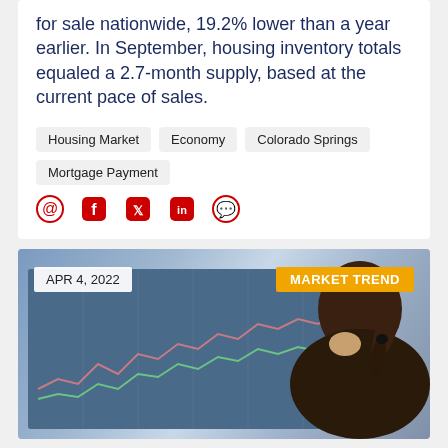for sale nationwide, 19.2% lower than a year earlier. In September, housing inventory totals equaled a 2.7-month supply, based at the current pace of sales.
Housing Market
Economy
Colorado Springs
Mortgage Payment
[Figure (other): Social media share icons: email, Facebook, Twitter, LinkedIn, WhatsApp]
[Figure (photo): Photo of a person from behind looking at a financial market chart on a computer monitor. Date badge: APR 4, 2022. Category badge: MARKET TREND.]